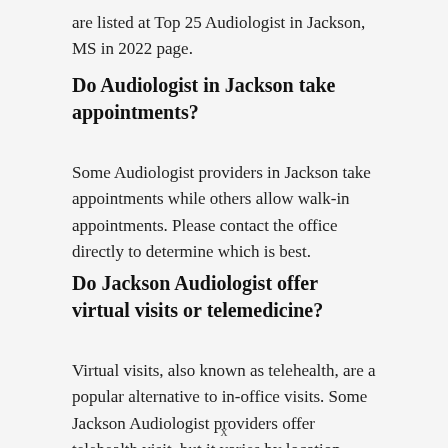are listed at Top 25 Audiologist in Jackson, MS in 2022 page.
Do Audiologist in Jackson take appointments?
Some Audiologist providers in Jackson take appointments while others allow walk-in appointments. Please contact the office directly to determine which is best.
Do Jackson Audiologist offer virtual visits or telemedicine?
Virtual visits, also known as telehealth, are a popular alternative to in-office visits. Some Jackson Audiologist providers offer telehealth visit, but it varies by location.
x